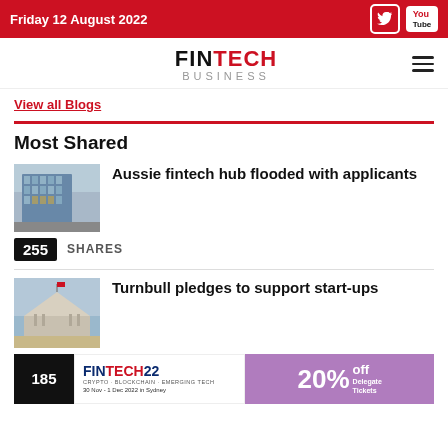Friday 12 August 2022
FINTECH BUSINESS
View all Blogs
Most Shared
[Figure (photo): Glass office building exterior, Aussie fintech hub]
Aussie fintech hub flooded with applicants
255 SHARES
[Figure (photo): Australian Parliament House building exterior]
Turnbull pledges to support start-ups
185
[Figure (logo): FINTECH22 conference logo — CRYPTO · BLOCKCHAIN · EMERGING TECH, 30 Nov - 1 Dec 2022 in Sydney]
[Figure (infographic): 20% Off Delegate Tickets promotional banner]